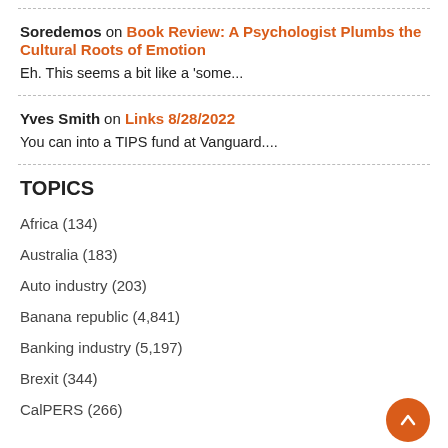Soredemos on Book Review: A Psychologist Plumbs the Cultural Roots of Emotion
Eh. This seems a bit like a 'some...
Yves Smith on Links 8/28/2022
You can into a TIPS fund at Vanguard....
TOPICS
Africa (134)
Australia (183)
Auto industry (203)
Banana republic (4,841)
Banking industry (5,197)
Brexit (344)
CalPERS (266)